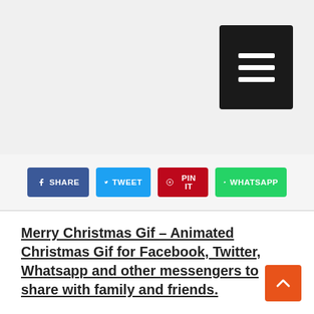[Figure (screenshot): Black hamburger menu button with three white horizontal bars, positioned in top-right corner of page header]
[Figure (infographic): Row of four social share buttons: Facebook (SHARE, blue), Twitter (TWEET, light blue), Pinterest (PIN IT, red), WhatsApp (WHATSAPP, green)]
Merry Christmas Gif – Animated Christmas Gif for Facebook, Twitter, Whatsapp and other messengers to share with family and friends.
[Figure (other): Orange scroll-to-top button with upward chevron arrow, bottom-right corner]